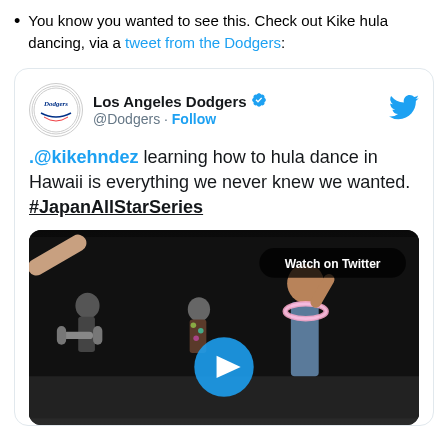You know you wanted to see this. Check out Kike hula dancing, via a tweet from the Dodgers:
[Figure (screenshot): Embedded tweet from Los Angeles Dodgers (@Dodgers) with verified badge and Follow button. Tweet text: '.@kikehndez learning how to hula dance in Hawaii is everything we never knew we wanted. #JapanAllStarSeries'. Includes a video thumbnail showing performers on a dark outdoor stage with a play button overlay and 'Watch on Twitter' label.]